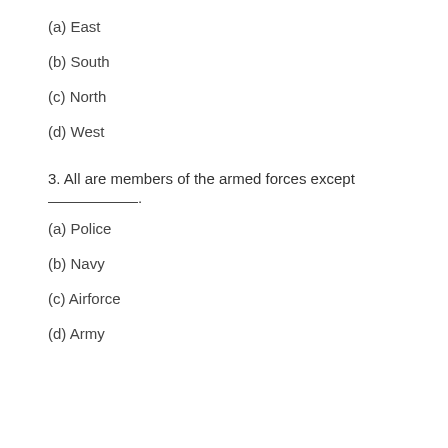(a) East
(b) South
(c) North
(d) West
3. All are members of the armed forces except ___________
(a) Police
(b) Navy
(c) Airforce
(d) Army